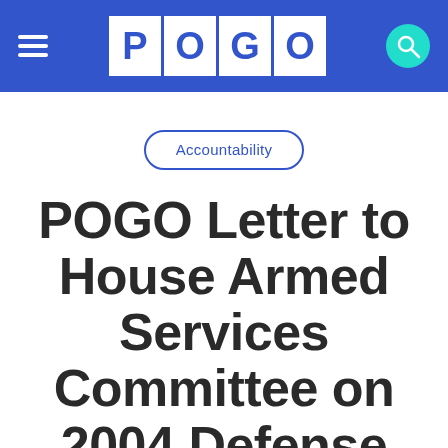[Figure (logo): POGO website header with hamburger menu on left, POGO logo in center (four white letter boxes on blue background), and teal search icon button on right]
Accountability
POGO Letter to House Armed Services Committee on 2004 Defense